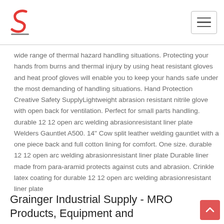Navigation header with logo and hamburger menu
wide range of thermal hazard handling situations. Protecting your hands from burns and thermal injury by using heat resistant gloves and heat proof gloves will enable you to keep your hands safe under the most demanding of handling situations. Hand Protection Creative Safety SupplyLightweight abrasion resistant nitrile glove with open back for ventilation. Perfect for small parts handling. durable 12 12 open arc welding abrasionresistant liner plate Welders Gauntlet A500. 14" Cow split leather welding gauntlet with a one piece back and full cotton lining for comfort. One size. durable 12 12 open arc welding abrasionresistant liner plate Durable liner made from para-aramid protects against cuts and abrasion. Crinkle latex coating for durable 12 12 open arc welding abrasionresistant liner plate
Grainger Industrial Supply - MRO Products, Equipment and